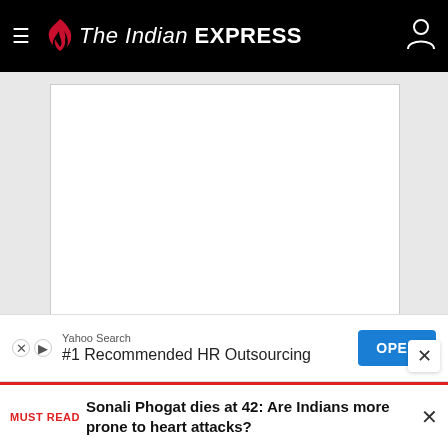The Indian EXPRESS
[Figure (other): White blank image placeholder rectangle]
[Figure (other): Advertisement banner: Yahoo Search - #1 Recommended HR Outsourcing with OPEN button]
MUST READ Sonali Phogat dies at 42: Are Indians more prone to heart attacks?